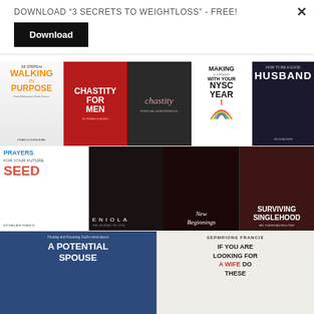DOWNLOAD “3 SECRETS TO WEIGHTLOSS” - FREE!
Download
[Figure (illustration): Grid of book covers including: 10 Steps to Walking in Purpose, Chastity for Men, Chastity, Making Inroads with Your NYSC Year, Husband, Prayers for Your Future Seed, Eniola, New Beginnings, Surviving Singlehood, A Potential Spouse, If You Are Looking for a Wife Do These]